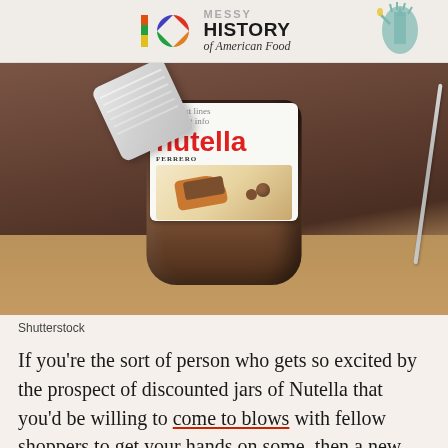[Figure (other): Banner advertisement for 'Messy History of American Food' with colorful circular logo and Statue of Liberty graphic]
[Figure (photo): An open jar of Nutella (Ferrero) with its white lid leaning against it and a knife resting on the side, on a brown surface]
Shutterstock
If you're the sort of person who gets so excited by the prospect of discounted jars of Nutella that you'd be willing to come to blows with fellow shoppers to get your hands on some, then a new Nutella-filled opportunity could very well be your dream job. The